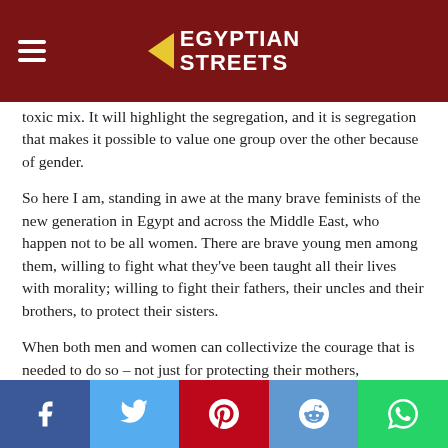Egyptian Streets
toxic mix. It will highlight the segregation, and it is segregation that makes it possible to value one group over the other because of gender.
So here I am, standing in awe at the many brave feminists of the new generation in Egypt and across the Middle East, who happen not to be all women. There are brave young men among them, willing to fight what they've been taught all their lives with morality; willing to fight their fathers, their uncles and their brothers, to protect their sisters.
When both men and women can collectivize the courage that is needed to do so – not just for protecting their mothers, themselves and their